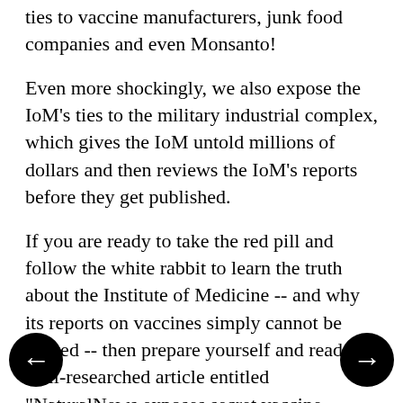ties to vaccine manufacturers, junk food companies and even Monsanto!
Even more shockingly, we also expose the IoM's ties to the military industrial complex, which gives the IoM untold millions of dollars and then reviews the IoM's reports before they get published.
If you are ready to take the red pill and follow the white rabbit to learn the truth about the Institute of Medicine -- and why its reports on vaccines simply cannot be trusted -- then prepare yourself and read this well-researched article entitled "NaturalNews exposes secret vaccine industry ties and military involvement with Institute of Medicine, reveals fatal conflicts of interest at IoM."